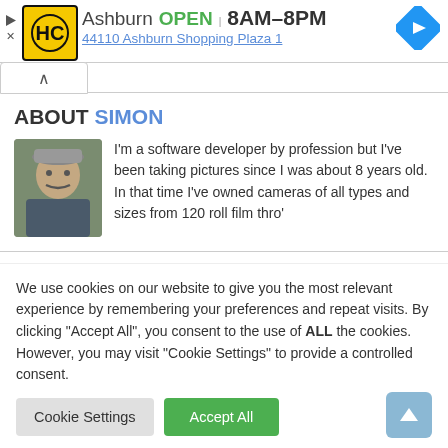[Figure (screenshot): Website screenshot showing HC logo with Ashburn store info: OPEN 8AM-8PM, 44110 Ashburn Shopping Plaza 1, with navigation arrow icon]
ABOUT SIMON
I'm a software developer by profession but I've been taking pictures since I was about 8 years old. In that time I've owned cameras of all types and sizes from 120 roll film thro'
We use cookies on our website to give you the most relevant experience by remembering your preferences and repeat visits. By clicking "Accept All", you consent to the use of ALL the cookies. However, you may visit "Cookie Settings" to provide a controlled consent.